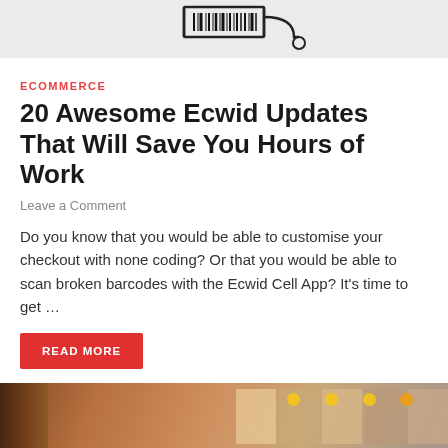[Figure (illustration): Top cropped illustration of a shopping cart / barcode scanner drawing on light gray background]
ECOMMERCE
20 Awesome Ecwid Updates That Will Save You Hours of Work
Leave a Comment
Do you know that you would be able to customise your checkout with none coding? Or that you would be able to scan broken barcodes with the Ecwid Cell App? It’s time to get …
READ MORE
[Figure (photo): Blurred photo showing an e-commerce shopping scene with product thumbnails on a screen, a cardboard box with a shopping cart icon, set against warm brown/orange tones]